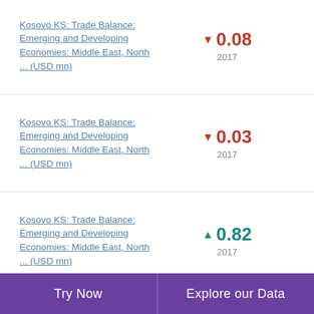Kosovo KS: Trade Balance: Emerging and Developing Economies: Middle East, North ... (USD mn) ▼ 0.08 2017
Kosovo KS: Trade Balance: Emerging and Developing Economies: Middle East, North ... (USD mn) ▼ 0.03 2017
Kosovo KS: Trade Balance: Emerging and Developing Economies: Middle East, North ... (USD mn) ▲ 0.82 2017
Try Now | Explore our Data